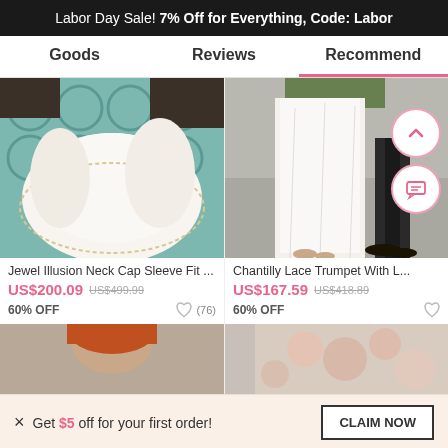Labor Day Sale! 7% Off for Everything, Code: Labor
Goods    Reviews    Recommend
[Figure (photo): Wedding dress train laid out on teal patterned rug]
[Figure (photo): Wedding couple walking, showing white wedding dress from back]
Jewel Illusion Neck Cap Sleeve Fit ...
US$200.09  US$499.99
60% OFF
Chantilly Lace Trumpet With L...
US$167.59  US$418.89
60% OFF
[Figure (photo): Partial product thumbnail - woman with red hair]
[Figure (photo): Partial product thumbnail - floral background]
× Get $5 off for your first order!
CLAIM NOW
42  ADD TO BAG